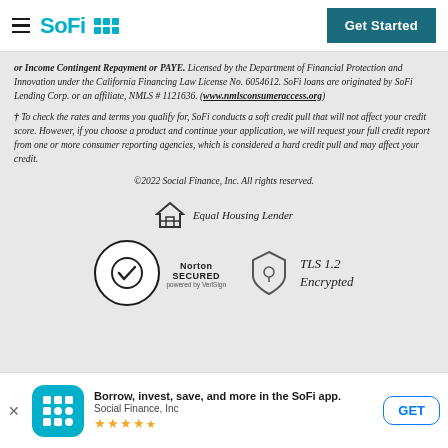[Figure (logo): SoFi logo with hamburger menu icon and teal dot grid, plus 'Get Started' teal button]
or Income Contingent Repayment or PAYE. Licensed by the Department of Financial Protection and Innovation under the California Financing Law License No. 6054612. SoFi loans are originated by SoFi Lending Corp. or an affiliate, NMLS # 1121636. (www.nmlsconsumeraccess.org)
† To check the rates and terms you qualify for, SoFi conducts a soft credit pull that will not affect your credit score. However, if you choose a product and continue your application, we will request your full credit report from one or more consumer reporting agencies, which is considered a hard credit pull and may affect your credit.
©2022 Social Finance, Inc. All rights reserved.
[Figure (logo): Equal Housing Lender icon and text]
[Figure (logo): Norton Secured powered by VeriSign badge and TLS 1.2 Encrypted shield icon]
[Figure (infographic): App download banner: SoFi app icon, 'Borrow, invest, save, and more in the SoFi app. Social Finance, Inc' with star rating and GET button]